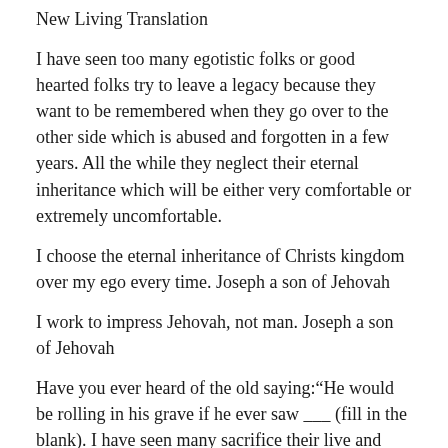New Living Translation
I have seen too many egotistic folks or good hearted folks try to leave a legacy because they want to be remembered when they go over to the other side which is abused and forgotten in a few years. All the while they neglect their eternal inheritance which will be either very comfortable or extremely uncomfortable.
I choose the eternal inheritance of Christs kingdom over my ego every time. Joseph a son of Jehovah
I work to impress Jehovah, not man. Joseph a son of Jehovah
Have you ever heard of the old saying:“He would be rolling in his grave if he ever saw ___ (fill in the blank). I have seen many sacrifice their live and their health so that when they die they will leave a good inheritance for their children. When they